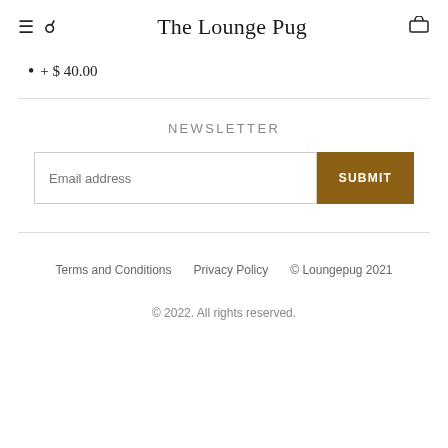The Lounge Pug
+ $ 40.00
NEWSLETTER
Email address
SUBMIT
Terms and Conditions   Privacy Policy   © Loungepug 2021
© 2022. All rights reserved.